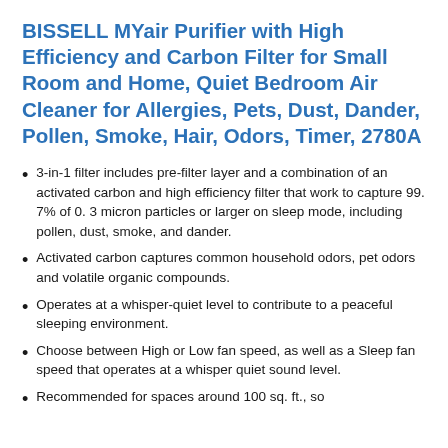BISSELL MYair Purifier with High Efficiency and Carbon Filter for Small Room and Home, Quiet Bedroom Air Cleaner for Allergies, Pets, Dust, Dander, Pollen, Smoke, Hair, Odors, Timer, 2780A
3-in-1 filter includes pre-filter layer and a combination of an activated carbon and high efficiency filter that work to capture 99. 7% of 0. 3 micron particles or larger on sleep mode, including pollen, dust, smoke, and dander.
Activated carbon captures common household odors, pet odors and volatile organic compounds.
Operates at a whisper-quiet level to contribute to a peaceful sleeping environment.
Choose between High or Low fan speed, as well as a Sleep fan speed that operates at a whisper quiet sound level.
Recommended for spaces around 100 sq. ft., so